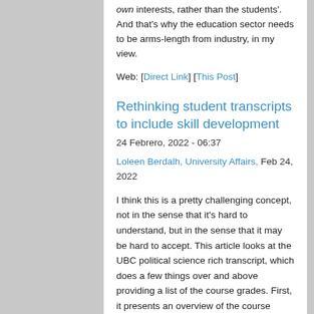own interests, rather than the students'. And that's why the education sector needs to be arms-length from industry, in my view.
Web: [Direct Link] [This Post]
Rethinking student transcripts to include skill development
24 Febrero, 2022 - 06:37
Loleen Berdalh, University Affairs, Feb 24, 2022
I think this is a pretty challenging concept, not in the sense that it's hard to understand, but in the sense that it may be hard to accept. This article looks at the UBC political science rich transcript, which does a few things over and above providing a list of the course grades. First, it presents an overview of the course contents in a word cloud. Second, and more significantly, it "captures a student's skills